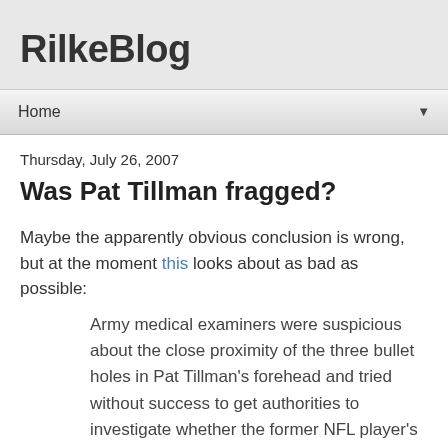RilkeBlog
Home
Thursday, July 26, 2007
Was Pat Tillman fragged?
Maybe the apparently obvious conclusion is wrong, but at the moment this looks about as bad as possible:
Army medical examiners were suspicious about the close proximity of the three bullet holes in Pat Tillman's forehead and tried without success to get authorities to investigate whether the former NFL player's death amounted to a crime, according to documents obtained by The Associated Press.